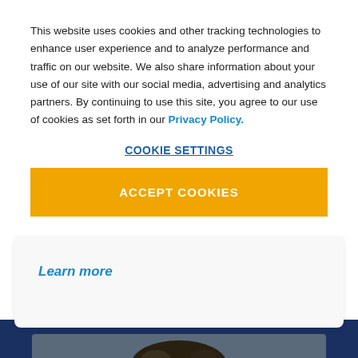This website uses cookies and other tracking technologies to enhance user experience and to analyze performance and traffic on our website. We also share information about your use of our site with our social media, advertising and analytics partners. By continuing to use this site, you agree to our use of cookies as set forth in our Privacy Policy.
COOKIE SETTINGS
ACCEPT COOKIES
Learn more
[Figure (photo): Partial view of a person, visible from the top of the head, appearing below a dark navy band section]